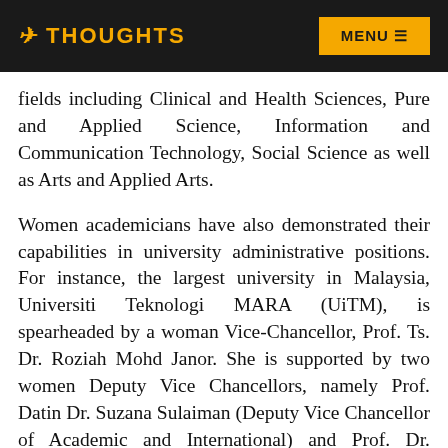THOUGHTS   MENU
fields including Clinical and Health Sciences, Pure and Applied Science, Information and Communication Technology, Social Science as well as Arts and Applied Arts.
Women academicians have also demonstrated their capabilities in university administrative positions. For instance, the largest university in Malaysia, Universiti Teknologi MARA (UiTM), is spearheaded by a woman Vice-Chancellor, Prof. Ts. Dr. Roziah Mohd Janor. She is supported by two women Deputy Vice Chancellors, namely Prof. Datin Dr. Suzana Sulaiman (Deputy Vice Chancellor of Academic and International) and Prof. Dr. Norazah Abd Rahman